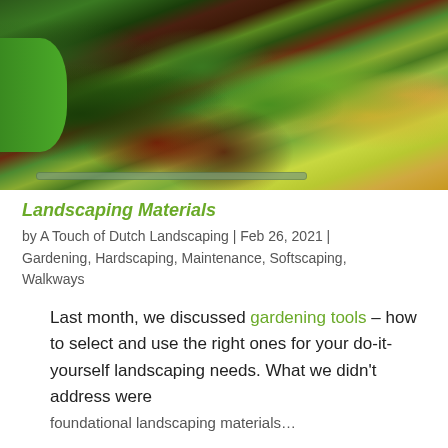[Figure (photo): Garden landscaping photo showing colorful plants, shrubs, mulched flower beds with a curved stone edging border, green lawn on the left side, and various green, red, and yellow-green plants and flowers.]
Landscaping Materials
by A Touch of Dutch Landscaping | Feb 26, 2021 | Gardening, Hardscaping, Maintenance, Softscaping, Walkways
Last month, we discussed gardening tools – how to select and use the right ones for your do-it-yourself landscaping needs. What we didn't address were foundational landscaping materials